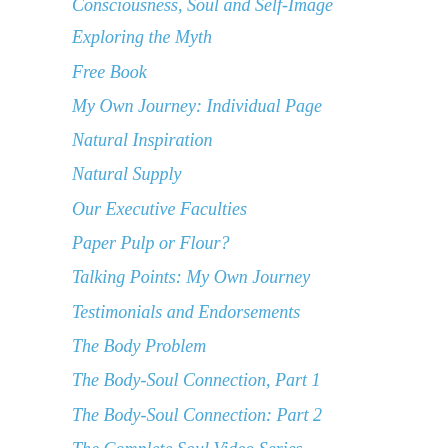Consciousness, Soul and Self-Image
Exploring the Myth
Free Book
My Own Journey: Individual Page
Natural Inspiration
Natural Supply
Our Executive Faculties
Paper Pulp or Flour?
Talking Points: My Own Journey
Testimonials and Endorsements
The Body Problem
The Body-Soul Connection, Part 1
The Body-Soul Connection: Part 2
The Complete Soul Video Series